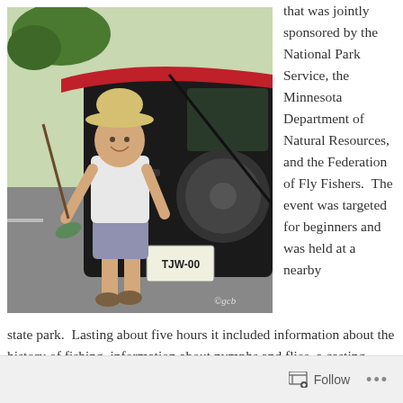[Figure (photo): A person wearing a hat and shorts stands next to a black SUV with a red canoe on top, holding a fish and a fishing rod. License plate reads TJW-00. Photo watermark reads ©gcb.]
that was jointly sponsored by the National Park Service, the Minnesota Department of Natural Resources, and the Federation of Fly Fishers.  The event was targeted for beginners and was held at a nearby state park.  Lasting about five hours it included information about the history of fishing, information about nymphs and flies, a casting demonstration, and a
Follow ...